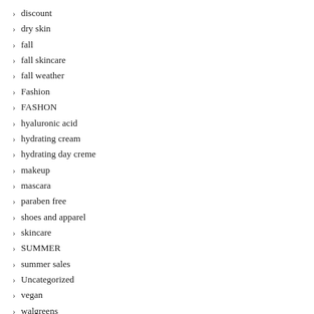discount
dry skin
fall
fall skincare
fall weather
Fashion
FASHON
hyaluronic acid
hydrating cream
hydrating day creme
makeup
mascara
paraben free
shoes and apparel
skincare
SUMMER
summer sales
Uncategorized
vegan
walgreens